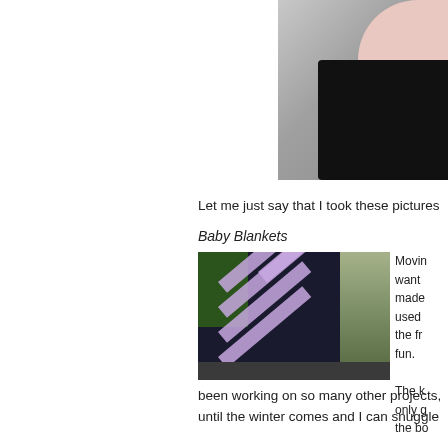[Figure (photo): Partial photo of a pregnant belly with black clothing, gray background, right side cropped]
Let me just say that I took these pictures
Baby Blankets
[Figure (photo): Photo of a dark purple/black knitted blanket with diagonal lavender stripes, displayed outdoors]
Moving want made used the fr fun.

The k only g the bo been working on so many other projects, until the winter comes and I can snuggle